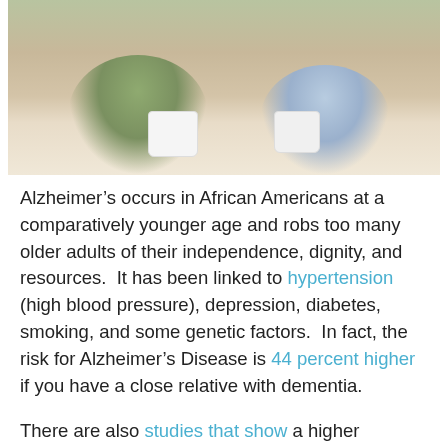[Figure (photo): Two people (an older woman and an older man) sitting together, each holding a white coffee cup. Background is soft and blurred with green and light tones.]
Alzheimer's occurs in African Americans at a comparatively younger age and robs too many older adults of their independence, dignity, and resources.  It has been linked to hypertension (high blood pressure), depression, diabetes, smoking, and some genetic factors.  In fact, the risk for Alzheimer's Disease is 44 percent higher if you have a close relative with dementia.
There are also studies that show a higher